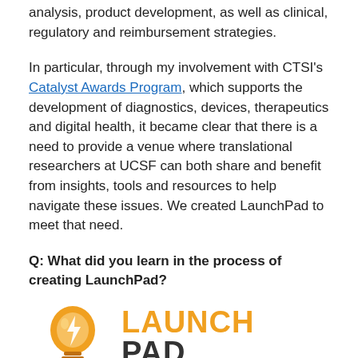analysis, product development, as well as clinical, regulatory and reimbursement strategies.
In particular, through my involvement with CTSI's Catalyst Awards Program, which supports the development of diagnostics, devices, therapeutics and digital health, it became clear that there is a need to provide a venue where translational researchers at UCSF can both share and benefit from insights, tools and resources to help navigate these issues. We created LaunchPad to meet that need.
Q: What did you learn in the process of creating LaunchPad?
[Figure (logo): LaunchPad logo: a light bulb with a lightning bolt icon in orange/yellow on the left, next to the text LAUNCH PAD in bold orange and dark gray.]
First, there is amazing translational research going on at UCSF!